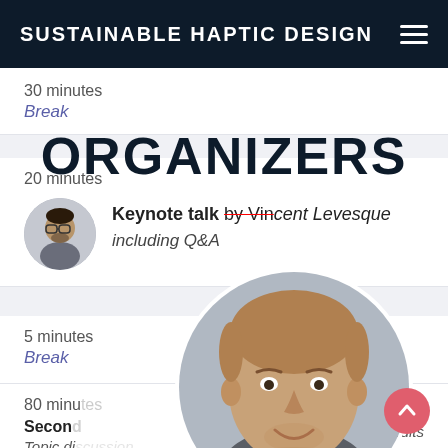SUSTAINABLE HAPTIC DESIGN
30 minutes
Break
ORGANIZERS
20 minutes
Keynote talk by Vincent Levesque including Q&A
5 minutes
Break
80 minutes
Second
Topic di... ...results
[Figure (photo): Close-up portrait of a man with short light brown hair, smiling, shown in a circular crop]
[Figure (photo): Small circular avatar of a man with glasses and dark beard]